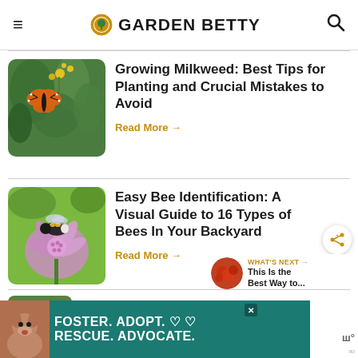GARDEN BETTY
[Figure (photo): Monarch butterfly on yellow milkweed flowers with green background]
Growing Milkweed: Best Tips for Planting and Crucial Mistakes to Avoid
Read More →
[Figure (photo): Bumblebee on purple/lavender scabious flower with green background]
Easy Bee Identification: A Visual Guide to 16 Types of Bees In Your Backyard
Read More →
WHAT'S NEXT → This Is the Best Way to...
[Figure (photo): Advertisement banner: Foster. Adopt. Rescue. Advocate. with dog image, teal background]